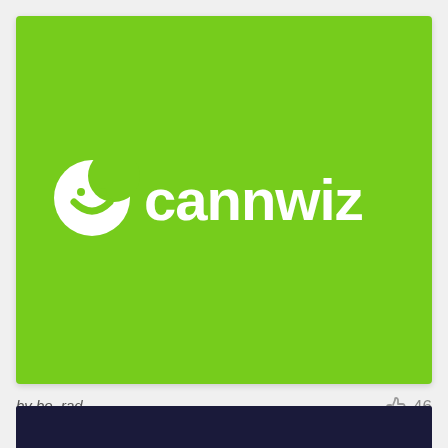[Figure (logo): Cannwiz logo on bright green background. White leaf/shield icon followed by white lowercase text 'cannwiz'.]
by bo_rad
46
[Figure (screenshot): Dark navy/black bar at bottom of page, partial view of another image below.]